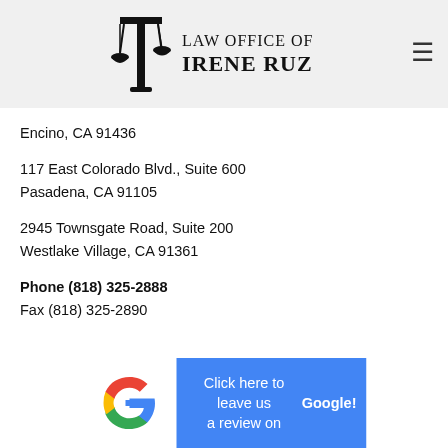[Figure (logo): Law Office of Irene Ruz logo with scales of justice icon and firm name]
Encino, CA 91436
117 East Colorado Blvd., Suite 600
Pasadena, CA 91105
2945 Townsgate Road, Suite 200
Westlake Village, CA 91361
Phone (818) 325-2888
Fax (818) 325-2890
[Figure (infographic): Google review banner with Google G logo and text: Click here to leave us a review on Google!]